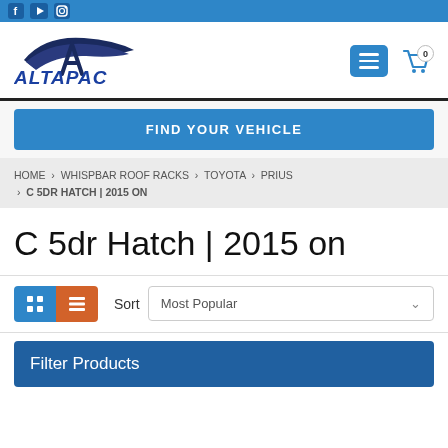ALTAPAC website header with logo and navigation
FIND YOUR VEHICLE
HOME › WHISPBAR ROOF RACKS › TOYOTA › PRIUS › C 5DR HATCH | 2015 ON
C 5dr Hatch | 2015 on
Sort  Most Popular
Filter Products